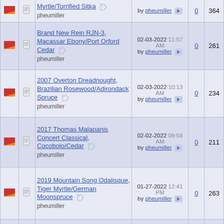|  |  | Topic | Last Post | Replies | Views |
| --- | --- | --- | --- | --- | --- |
| [flag] | [doc] | Brand New Rein RJN-3, Macassar Ebony/Port Orford Cedar
pheumiller | 02-03-2022 11:57 AM by pheumiller | 0 | 261 |
| [flag] | [doc] | 2007 Overton Dreadnought, Brazilian Rosewood/Adirondack Spruce
pheumiller | 02-03-2022 10:13 AM by pheumiller | 0 | 234 |
| [flag] | [doc] | 2017 Thomas Malapanis Concert Classical, Cocobolo/Cedar
pheumiller | 02-02-2022 09:59 AM by pheumiller | 0 | 211 |
| [flag] | [doc] | 2019 Mountain Song Odalisque, Tiger Myrtle/German Moonspruce
pheumiller | 01-27-2022 12:41 PM by pheumiller | 0 | 263 |
| [flag] | [doc] | 2021 Strahm 00, Brazilian Rosewood/Adirondack Spruce | 01-27-2022 12:18 PM by pheumiller | 0 | 342 |